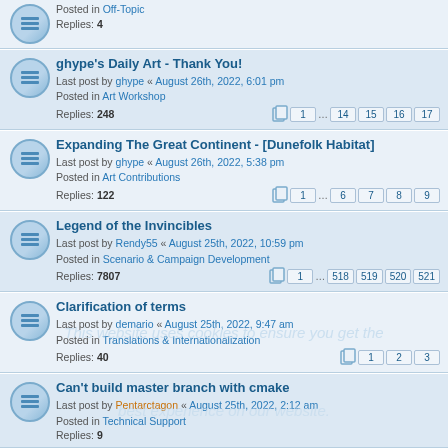Posted in Off-Topic
Replies: 4
ghype's Daily Art - Thank You!
Last post by ghype « August 26th, 2022, 6:01 pm
Posted in Art Workshop
Replies: 248
Pages: 1 ... 14 15 16 17
Expanding The Great Continent - [Dunefolk Habitat]
Last post by ghype « August 26th, 2022, 5:38 pm
Posted in Art Contributions
Replies: 122
Pages: 1 ... 6 7 8 9
Legend of the Invincibles
Last post by Rendy55 « August 25th, 2022, 10:59 pm
Posted in Scenario & Campaign Development
Replies: 7807
Pages: 1 ... 518 519 520 521
Clarification of terms
Last post by demario « August 25th, 2022, 9:47 am
Posted in Translations & Internationalization
Replies: 40
Pages: 1 2 3
Can't build master branch with cmake
Last post by Pentarctagon « August 25th, 2022, 2:12 am
Posted in Technical Support
Replies: 9
Experiment in loading past eras/campaigns in cores
Last post by demario « August 25th, 2022, 1:44 am
Posted in Coder's Corner
Replies: 6
A Hidden War - SP - TDM Project